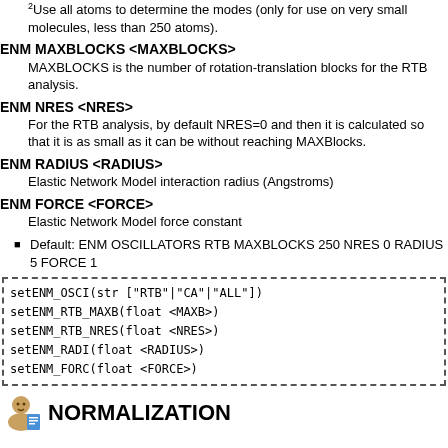2Use all atoms to determine the modes (only for use on very small molecules, less than 250 atoms).
ENM MAXBLOCKS <MAXBLOCKS>
MAXBLOCKS is the number of rotation-translation blocks for the RTB analysis.
ENM NRES <NRES>
For the RTB analysis, by default NRES=0 and then it is calculated so that it is as small as it can be without reaching MAXBlocks.
ENM RADIUS <RADIUS>
Elastic Network Model interaction radius (Angstroms)
ENM FORCE <FORCE>
Elastic Network Model force constant
Default: ENM OSCILLATORS RTB MAXBLOCKS 250 NRES 0 RADIUS 5 FORCE 1
[Figure (other): Code block with dashed border showing API function signatures: setENM_OSCI(str ["RTB"|"CA"|"ALL"]), setENM_RTB_MAXB(float <MAXB>), setENM_RTB_NRES(float <NRES>), setENM_RADI(float <RADIUS>), setENM_FORC(float <FORCE>)]
NORMALIZATION